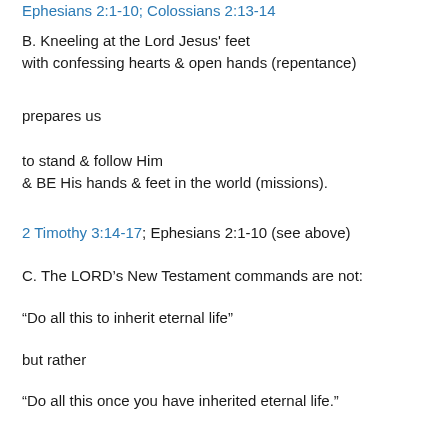Ephesians 2:1-10; Colossians 2:13-14
B. Kneeling at the Lord Jesus' feet
with confessing hearts & open hands (repentance)
prepares us
to stand & follow Him
& BE His hands & feet in the world (missions).
2 Timothy 3:14-17; Ephesians 2:1-10 (see above)
C. The LORD's New Testament commands are not:
“Do all this to inherit eternal life”
but rather
“Do all this once you have inherited eternal life.”